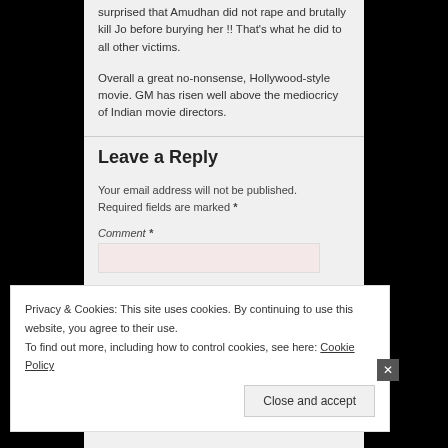surprised that Amudhan did not rape and brutally kill Jo before burying her !! That's what he did to all other victims.
Overall a great no-nonsense, Hollywood-style movie. GM has risen well above the mediocricy of Indian movie directors.
Leave a Reply
Your email address will not be published. Required fields are marked *
Comment *
Privacy & Cookies: This site uses cookies. By continuing to use this website, you agree to their use.
To find out more, including how to control cookies, see here: Cookie Policy
Close and accept